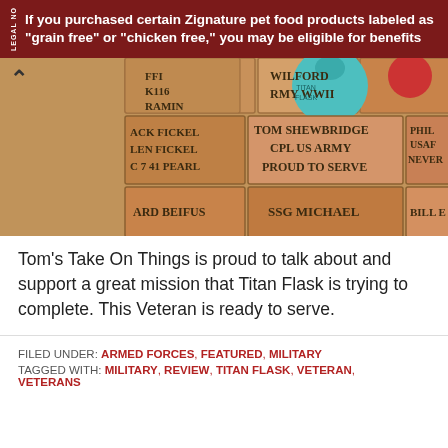If you purchased certain Zignature pet food products labeled as "grain free" or "chicken free," you may be eligible for benefits
[Figure (photo): Photo of engraved memorial bricks with a teal Titan Flask bottle visible. Bricks read: FFI, K116, RAMIN, IN MEMORY OF JAMES F. PEE, DASHY, WILFORD, ARMY WWII, ACK FICKEL, LEN FICKEL, C 7 41 PEARL, TOM SHEWBRIDGE CPL US ARMY PROUD TO SERVE, PHIL, USAF, NEVER, ARD BEIFUS, SSG MICHAEL, BILL E]
Tom's Take On Things is proud to talk about and support a great mission that Titan Flask is trying to complete. This Veteran is ready to serve.
FILED UNDER: ARMED FORCES, FEATURED, MILITARY
TAGGED WITH: MILITARY, REVIEW, TITAN FLASK, VETERAN, VETERANS